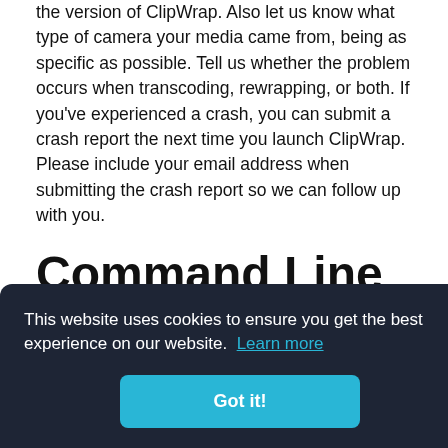the version of ClipWrap. Also let us know what type of camera your media came from, being as specific as possible. Tell us whether the problem occurs when transcoding, rewrapping, or both. If you've experienced a crash, you can submit a crash report the next time you launch ClipWrap. Please include your email address when submitting the crash report so we can follow up with you.
Command Line Interface
h be
il
The command line interface accepts the following input:
[Figure (screenshot): Cookie consent banner overlay with dark background (#1e2535). Text reads: 'This website uses cookies to ensure you get the best experience on our website. Learn more' with a 'Got it!' button in teal/cyan color.]